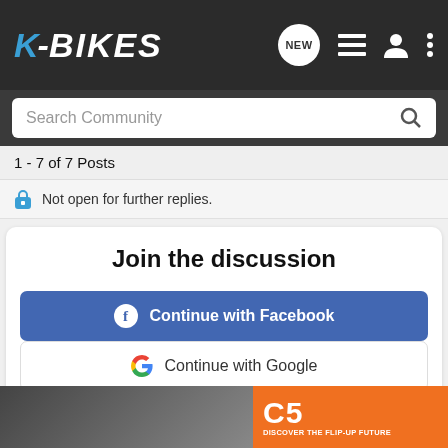K-BIKES
Search Community
1 - 7 of 7 Posts
Not open for further replies.
Join the discussion
Continue with Facebook
Continue with Google
or sign up with email
[Figure (photo): Advertisement banner at bottom showing motorcycle riders and a C5 helmet. Orange panel on right reads 'C5 DISCOVER THE FLIP-UP FUTURE']